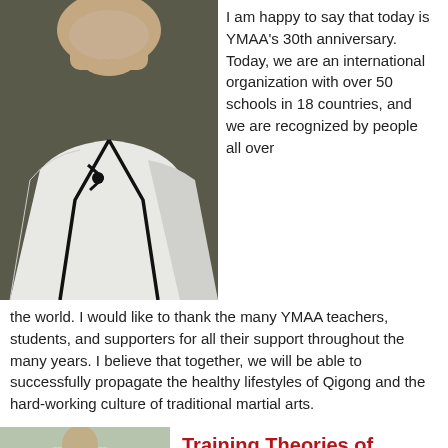[Figure (photo): Portrait of a man wearing a white traditional martial arts uniform with black trim, photographed from shoulders up against a dark background.]
I am happy to say that today is YMAA’s 30th anniversary. Today, we are an international organization with over 50 schools in 18 countries, and we are recognized by people all over the world. I would like to thank the many YMAA teachers, students, and supporters for all their support throughout the many years. I believe that together, we will be able to successfully propagate the healthy lifestyles of Qigong and the hard-working culture of traditional martial arts.
[Figure (photo): Person in a light-colored traditional martial arts uniform performing a stance or technique, shown from waist up.]
Training Theories of Southern White Crane Styles